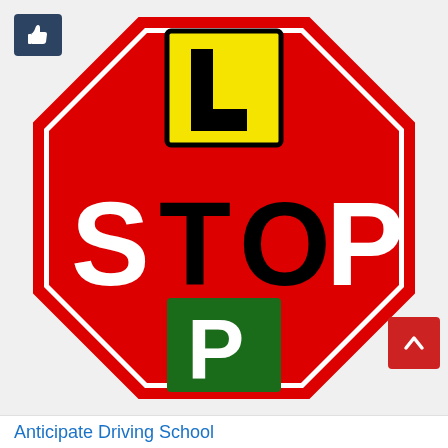[Figure (logo): A red octagon stop sign shape containing an L-plate (yellow background with black L), the word STOP in large letters (T and O in black, S and P in white), and a P-plate (green background with white P). A dark blue thumbs-up button overlays top-left corner. A red scroll-to-top button overlays bottom-right corner.]
Anticipate Driving School